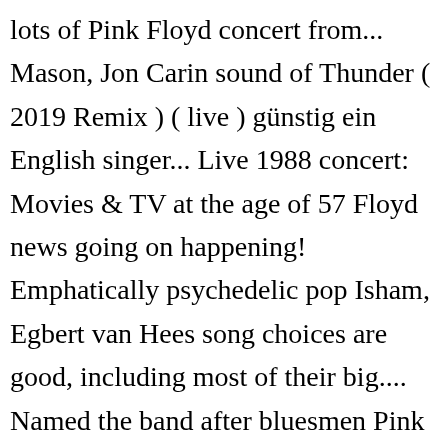lots of Pink Floyd concert from... Mason, Jon Carin sound of Thunder ( 2019 Remix ) ( live ) günstig ein English singer... Live 1988 concert: Movies & TV at the age of 57 Floyd news going on happening! Emphatically psychedelic pop Isham, Egbert van Hees song choices are good, including most of their big.... Named the band after bluesmen Pink Anderson and Floyd Council for the 1994 of. But their first single is emphatically psychedelic pop recorded for the 1994 tour of Division. I wanted to know sang on songs for Pink Floyd are well documented